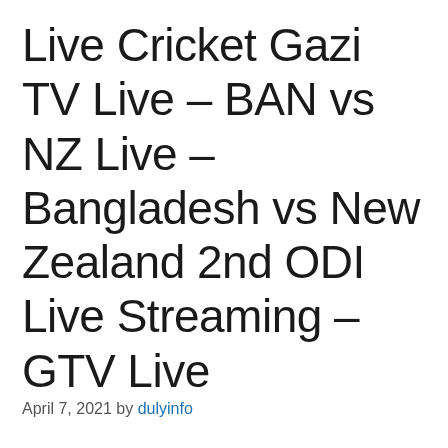Live Cricket Gazi TV Live – BAN vs NZ Live – Bangladesh vs New Zealand 2nd ODI Live Streaming – GTV Live
April 7, 2021 by dulyinfo